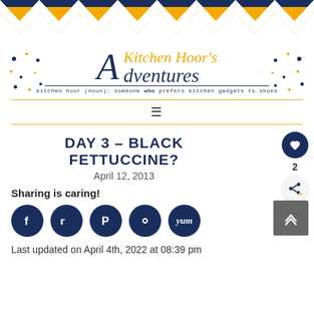[Figure (illustration): Chevron/zigzag pattern header banner in dark navy blue and golden yellow on white background]
[Figure (logo): A Kitchen Hoor's Adventures blog logo with decorative A letter, gold and navy text, tagline: kitchen hoor (noun): someone who prefers kitchen gadgets to shoes]
DAY 3 – BLACK FETTUCCINE?
April 12, 2013
Sharing is caring!
[Figure (infographic): Row of social media sharing buttons: Facebook, Twitter, Pinterest, Heart/Save, Yum]
Last updated on April 4th, 2022 at 08:39 pm